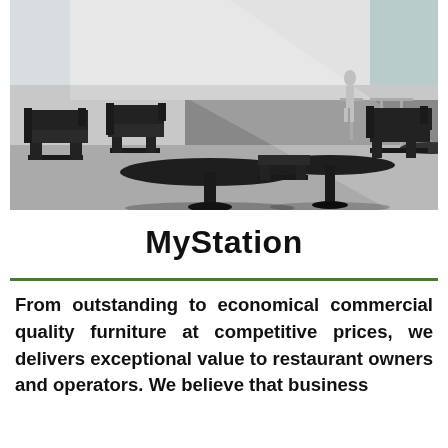[Figure (photo): Modern minimalist interior space with black chairs and round tables, high ceilings, white walls, and a person walking in the background. Restaurant or cafe furniture showroom setting.]
MyStation
From outstanding to economical commercial quality furniture at competitive prices, we delivers exceptional value to restaurant owners and operators. We believe that business...